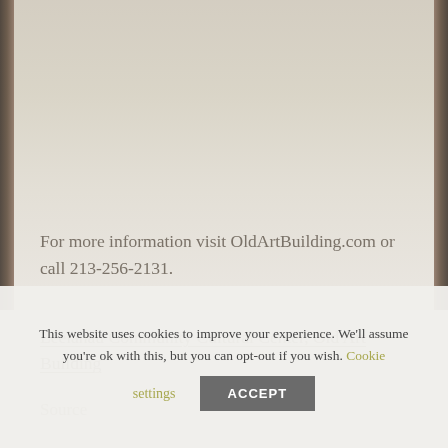[Figure (photo): Muted/greyed out background photograph of an old art building, visible at the top portion of the page]
For more information visit OldArtBuilding.com or call 213-256-2131.
Leelanau Community Cultural Center, Old Art Building
Source
This website uses cookies to improve your experience. We'll assume you're ok with this, but you can opt-out if you wish. Cookie settings ACCEPT